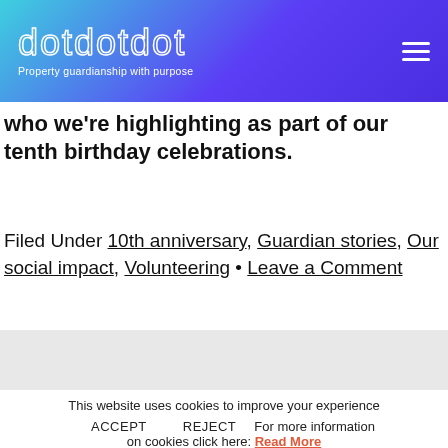dotdotdot — Property guardianship with purpose
who we're highlighting as part of our tenth birthday celebrations.
Filed Under 10th anniversary, Guardian stories, Our social impact, Volunteering • Leave a Comment
This website uses cookies to improve your experience ACCEPT REJECT For more information on cookies click here: Read More